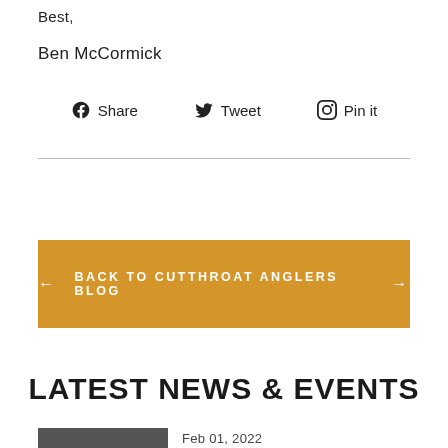Best,
Ben McCormick
Share   Tweet   Pin it
← BACK TO CUTTHROAT ANGLERS BLOG →
LATEST NEWS & EVENTS
Feb 01, 2022